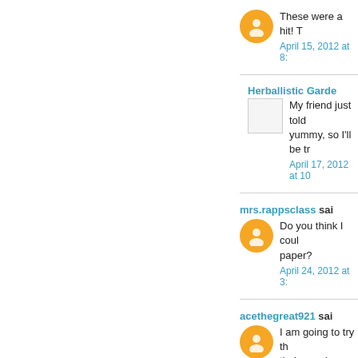These were a hit! T
April 15, 2012 at 8:
Herballistic Garde
My friend just told yummy, so I'll be tr
April 17, 2012 at 10
mrs.rappsclass said
Do you think I coul paper?
April 24, 2012 at 3:
acethegreat921 sai
I am going to try th their veggies.